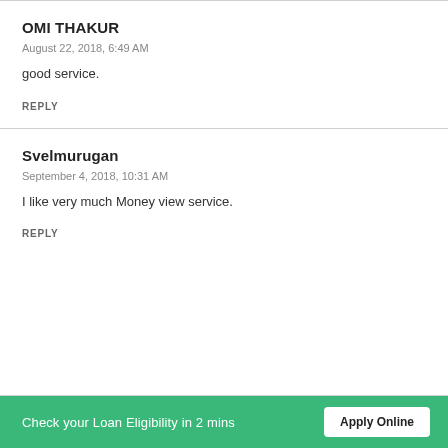OMI THAKUR
August 22, 2018, 6:49 AM
good service.
REPLY
Svelmurugan
September 4, 2018, 10:31 AM
I like very much Money view service.
REPLY
Check your Loan Eligibility in 2 mins  Apply Online